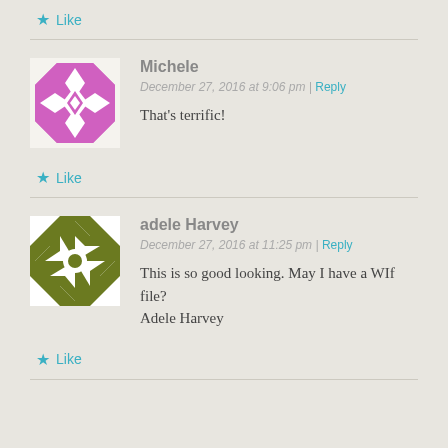★ Like
[Figure (illustration): Purple/magenta geometric quilt pattern avatar for Michele]
Michele
December 27, 2016 at 9:06 pm | Reply
That's terrific!
★ Like
[Figure (illustration): Olive green geometric quilt pattern avatar for adele Harvey]
adele Harvey
December 27, 2016 at 11:25 pm | Reply
This is so good looking. May I have a WIf file? Adele Harvey
★ Like